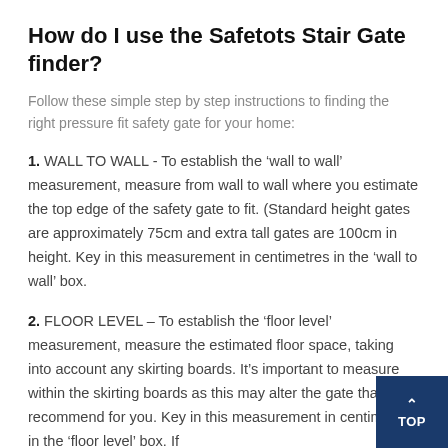How do I use the Safetots Stair Gate finder?
Follow these simple step by step instructions to finding the right pressure fit safety gate for your home:
1. WALL TO WALL - To establish the ‘wall to wall’ measurement, measure from wall to wall where you estimate the top edge of the safety gate to fit. (Standard height gates are approximately 75cm and extra tall gates are 100cm in height. Key in this measurement in centimetres in the ‘wall to wall’ box.
2. FLOOR LEVEL – To establish the ‘floor level’ measurement, measure the estimated floor space, taking into account any skirting boards. It’s important to measure within the skirting boards as this may alter the gate that we recommend for you. Key in this measurement in centimetres in the ‘floor level’ box. If